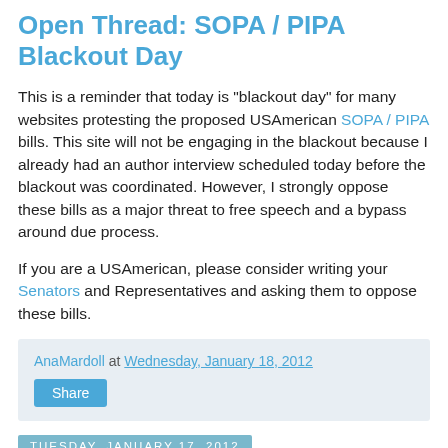Open Thread: SOPA / PIPA Blackout Day
This is a reminder that today is "blackout day" for many websites protesting the proposed USAmerican SOPA / PIPA bills. This site will not be engaging in the blackout because I already had an author interview scheduled today before the blackout was coordinated. However, I strongly oppose these bills as a major threat to free speech and a bypass around due process.
If you are a USAmerican, please consider writing your Senators and Representatives and asking them to oppose these bills.
AnaMardoll at Wednesday, January 18, 2012
Share
Tuesday, January 17, 2012
Tropes: Law and Order and Contracts